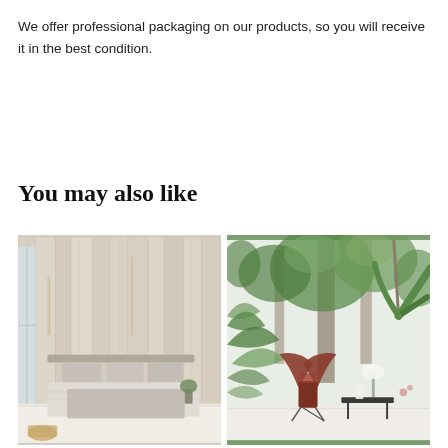We offer professional packaging on our products, so you will receive it in the best condition.
You may also like
[Figure (photo): Bedroom interior with a light wood vertical plank accent wall, a bed with grey bedding and pillows, and a wicker basket on the floor]
[Figure (photo): Living room with a tropical jungle mural wallpaper featuring large green palms and foliage, a brown leather butterfly chair, and a small black side table]